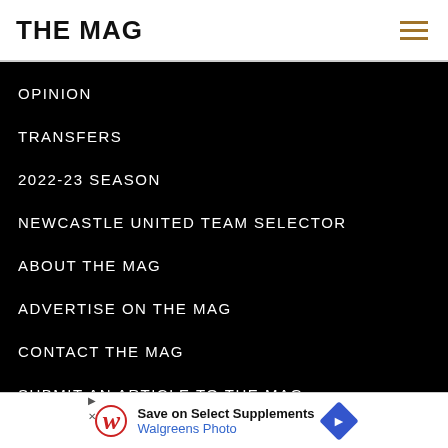THE MAG
OPINION
TRANSFERS
2022-23 SEASON
NEWCASTLE UNITED TEAM SELECTOR
ABOUT THE MAG
ADVERTISE ON THE MAG
CONTACT THE MAG
SUBMIT AN ARTICLE TO THE MAG
PRIVACY POLICY
[Figure (infographic): Walgreens advertisement: Save on Select Supplements, Walgreens Photo, with Walgreens W logo and blue directional arrow icon]